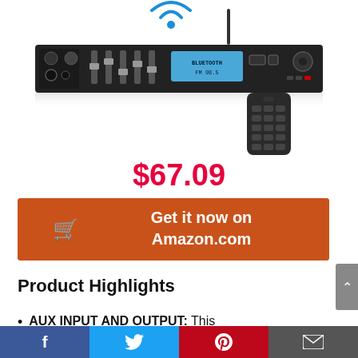[Figure (photo): Product photo of a Pyle audio receiver/amplifier unit with WiFi antenna and remote control, shown on white background]
$67.09
[Figure (infographic): Orange button with shopping cart icon and text: Get it now on Amazon.com]
Product Highlights
AUX INPUT AND OUTPUT: This
Facebook  Twitter  Pinterest  Email